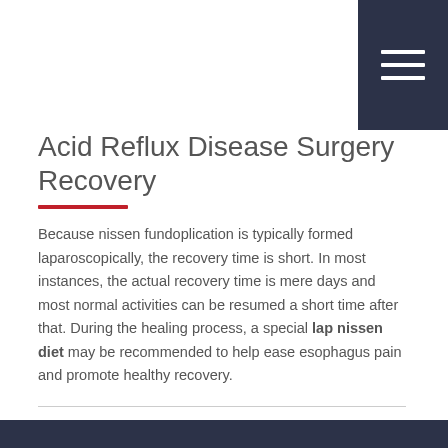Acid Reflux Disease Surgery Recovery
Because nissen fundoplication is typically formed laparoscopically, the recovery time is short. In most instances, the actual recovery time is mere days and most normal activities can be resumed a short time after that. During the healing process, a special lap nissen diet may be recommended to help ease esophagus pain and promote healthy recovery.
Request More Information
Acid reflux disease can make every day painful and frustrating. There's no reason to continue the struggle. Please call (813) 536-3212 or contact Evolution online .